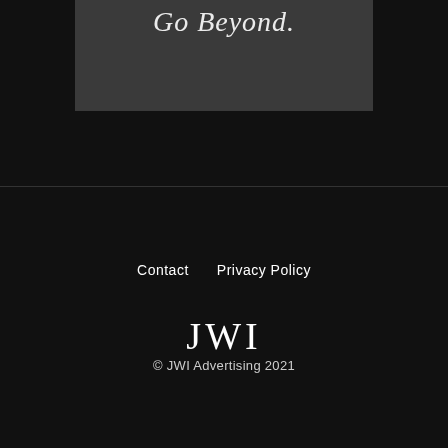[Figure (other): Dark gray image block with italic white text reading 'Go Beyond.' at the top]
Contact   Privacy Policy
[Figure (logo): JWI logo in white serif letters on black background]
© JWI Advertising 2021